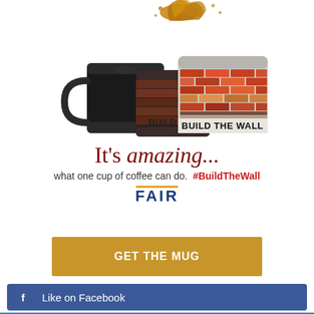[Figure (photo): Three coffee mugs: two black mugs on the left with coffee splashing out the top, and one mug on the right with a brick wall pattern reading 'BUILD THE WALL']
It's amazing...
what one cup of coffee can do.  #BuildTheWall
[Figure (logo): FAIR logo with golden underline]
GET THE MUG
Like on Facebook